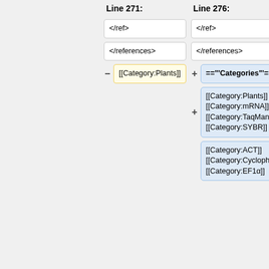Line 271:
Line 276:
</ref>
</ref>
</references>
</references>
[[Category:Plants]]
=="""Categories"""==
[[Category:Plants]]
[[Category:mRNA]]
[[Category:TaqMan]]
[[Category:SYBR]]
[[Category:ACT]]
[[Category:Cyclophilin]]
[[Category:EF1α]]